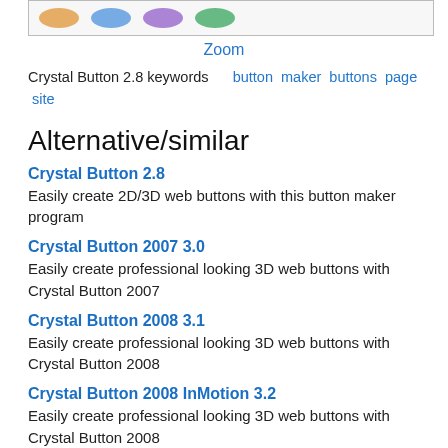[Figure (screenshot): Partial screenshot of Crystal Button software interface showing colored buttons]
Zoom
Crystal Button 2.8 keywords   button maker buttons page site
Alternative/similar
Crystal Button 2.8
Easily create 2D/3D web buttons with this button maker program
Crystal Button 2007 3.0
Easily create professional looking 3D web buttons with Crystal Button 2007
Crystal Button 2008 3.1
Easily create professional looking 3D web buttons with Crystal Button 2008
Crystal Button 2008 InMotion 3.2
Easily create professional looking 3D web buttons with Crystal Button 2008